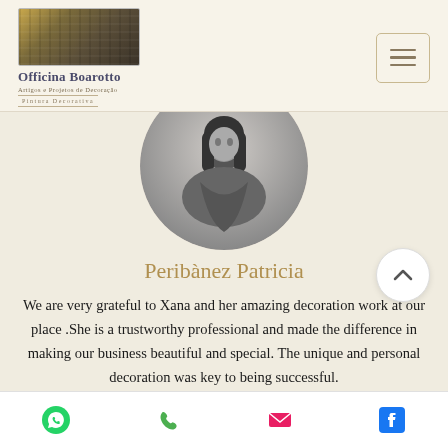Officina Boarotto – Artigos e Projetos de Decoração – Pintura Decorativa
[Figure (photo): Circular black-and-white portrait photo of a woman with long hair and a scarf]
Peribànez Patricia
We are very grateful to Xana and her amazing decoration work at our place .She is a trustworthy professional and made the difference in making our business beautiful and special. The unique and personal decoration was key to being successful.
WhatsApp, Phone, Email, Facebook icons